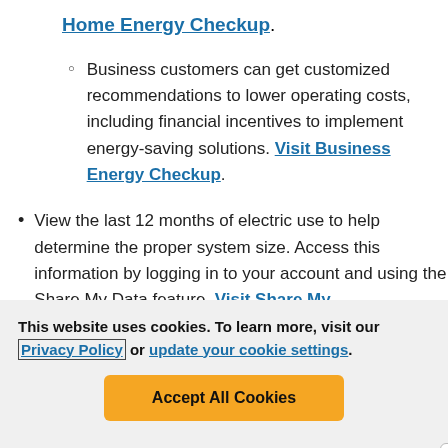Home Energy Checkup.
Business customers can get customized recommendations to lower operating costs, including financial incentives to implement energy-saving solutions. Visit Business Energy Checkup.
View the last 12 months of electric use to help determine the proper system size. Access this information by logging in to your account and using the Share My Data feature. Visit Share My
This website uses cookies. To learn more, visit our Privacy Policy or update your cookie settings.
Accept All Cookies